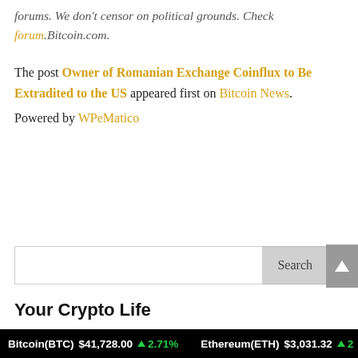forums. We don't censor on political grounds. Check forum.Bitcoin.com.
The post Owner of Romanian Exchange Coinflux to Be Extradited to the US appeared first on Bitcoin News.
Powered by WPeMatico
[Figure (screenshot): Search input box with Search button]
Your Crypto Life
Bitcoin
Bitcoin(BTC) $41,728.00 ↑ 2.71%   Ethereum(ETH) $3,031.32 ↑ 2